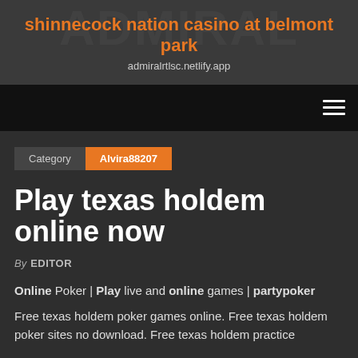shinnecock nation casino at belmont park
admiralrtlsc.netlify.app
Play texas holdem online now
Category  Alvira88207
By EDITOR
Online Poker | Play live and online games | partypoker
Free texas holdem poker games online. Free texas holdem poker sites no download. Free texas holdem practice